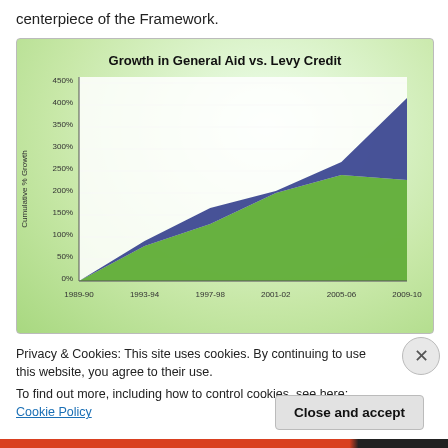centerpiece of the Framework.
[Figure (area-chart): Growth in General Aid vs. Levy Credit]
Privacy & Cookies: This site uses cookies. By continuing to use this website, you agree to their use.
To find out more, including how to control cookies, see here: Cookie Policy